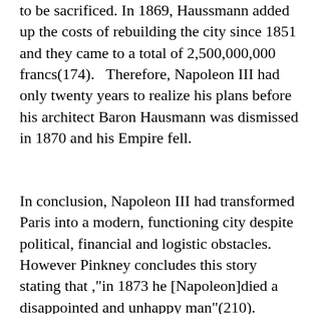to be sacrificed. In 1869, Haussmann added up the costs of rebuilding the city since 1851 and they came to a total of 2,500,000,000 francs(174).   Therefore, Napoleon III had only twenty years to realize his plans before his architect Baron Hausmann was dismissed in 1870 and his Empire fell.
In conclusion, Napoleon III had transformed Paris into a modern, functioning city despite political, financial and logistic obstacles. However Pinkney concludes this story stating that ,"in 1873 he [Napoleon]died a disappointed and unhappy man"(210). Napoleon had a dream and a plan, and accomplished them but left behind many